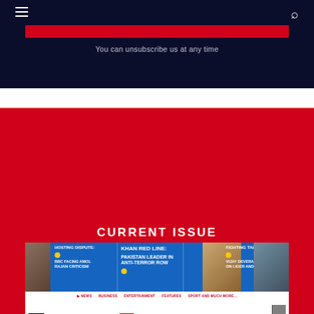You can unsubscribe us at any time
CURRENT ISSUE
[Figure (photo): Eastern Eye newspaper front page showing headlines: 'Hosting Dispute: BBC facing Amol Rajan criticism', 'Khan Red Line: Pakistan leader in anti-terror row', 'Fighting Talk: Vijay Deverakonda on Liger and Tyson'. Eastern Eye masthead in black and red serif font. Issue details bar reading 'Issue 1476 Friday August 26, 2022 - THE VOICE OF BRITISH ASIANS'. Main headline: 'RISHI ENTHRALS ASIAN TORIES']